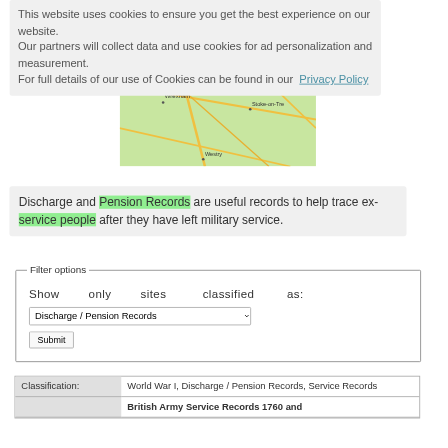[Figure (map): Road/street map showing areas including M56 motorway, Chester, Wrexham, Shrewsbury, Stoke-on-Trent region with roads highlighted in yellow/gold on green background]
This website uses cookies to ensure you get the best experience on our website. Our partners will collect data and use cookies for ad personalization and measurement. For full details of our use of Cookies can be found in our Privacy Policy
Discharge and Pension Records are useful records to help trace ex-service people after they have left military service.
Filter options
Show only sites classified as:
Classification: World War I, Discharge / Pension Records, Service Records
British Army Service Records 1760 and